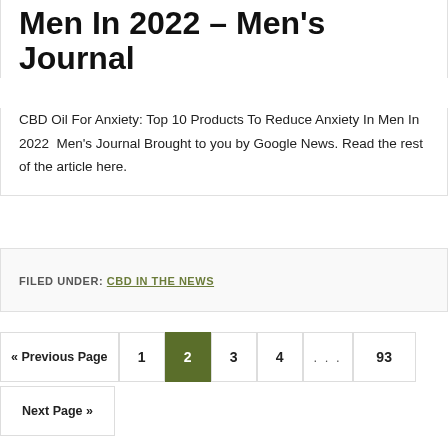Men In 2022 – Men's Journal
CBD Oil For Anxiety: Top 10 Products To Reduce Anxiety In Men In 2022  Men's Journal Brought to you by Google News. Read the rest of the article here.
FILED UNDER: CBD IN THE NEWS
« Previous Page
1
2
3
4
...
93
Next Page »